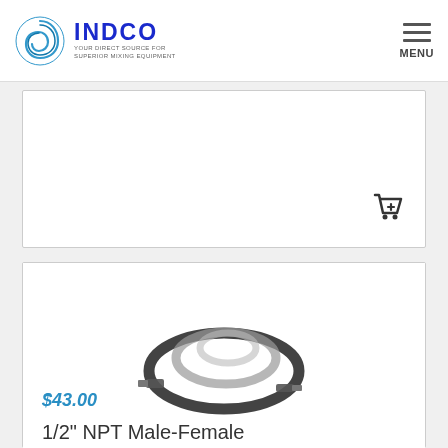INDCO — YOUR DIRECT SOURCE FOR SUPERIOR MIXING EQUIPMENT
[Figure (photo): Partially visible product card with shopping cart icon, cropped at top]
[Figure (photo): Coiled black and silver 1/2 inch NPT Male-Female air hose, 4 feet long, displayed on white background]
$43.00
1/2" NPT Male-Female Air Hose x 4'